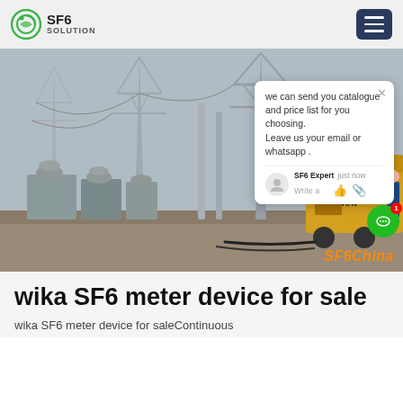SF6 SOLUTION
[Figure (photo): Electrical substation with high-voltage transmission towers and SF6 equipment. A yellow vehicle/trailer is visible on the right. A chat popup overlay is shown with text: 'we can send you catalogue and price list for you choosing. Leave us your email or whatsapp.' Watermark reads 'SF6China'.]
wika SF6 meter device for sale
wika SF6 meter device for saleContinuous